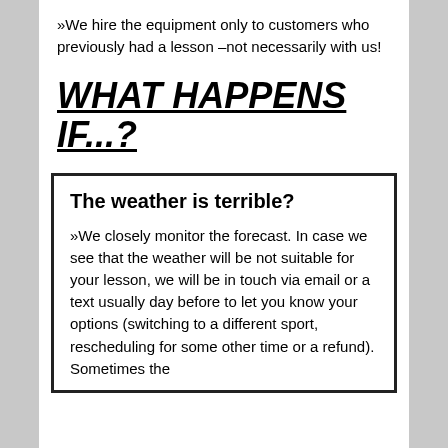»We hire the equipment only to customers who previously had a lesson –not necessarily with us!
WHAT HAPPENS IF...?
The weather is terrible?
»We closely monitor the forecast. In case we see that the weather will be not suitable for your lesson, we will be in touch via email or a text usually day before to let you know your options (switching to a different sport, rescheduling for some other time or a refund). Sometimes the